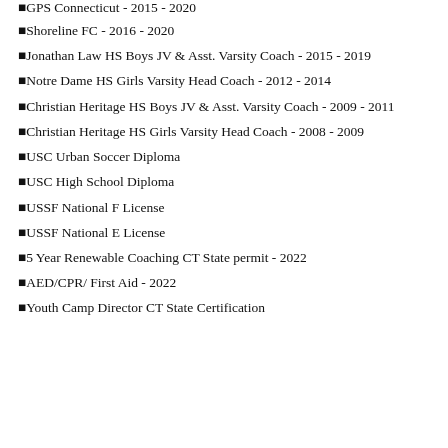GPS Connecticut - 2015 - 2020 (partial, top cut off)
Shoreline FC - 2016 - 2020
Jonathan Law HS Boys JV & Asst. Varsity Coach - 2015 - 2019
Notre Dame HS Girls Varsity Head Coach - 2012 - 2014
Christian Heritage HS Boys JV & Asst. Varsity Coach - 2009 - 2011
Christian Heritage HS Girls Varsity Head Coach - 2008 - 2009
USC Urban Soccer Diploma
USC High School Diploma
USSF National F License
USSF National E License
5 Year Renewable Coaching CT State permit - 2022
AED/CPR/ First Aid - 2022
Youth Camp Director CT State Certification